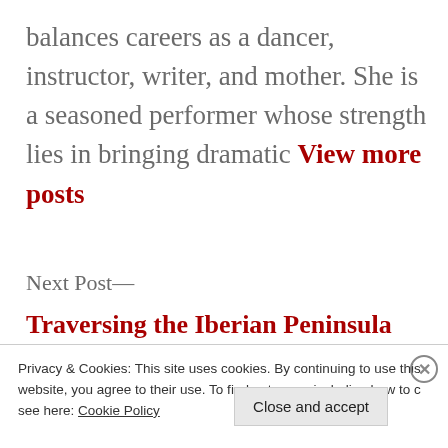balances careers as a dancer, instructor, writer, and mother. She is a seasoned performer whose strength lies in bringing dramatic View more posts
Next Post—
Traversing the Iberian Peninsula with Sara Draper and
Privacy & Cookies: This site uses cookies. By continuing to use this website, you agree to their use. To find out more, including how to c see here: Cookie Policy